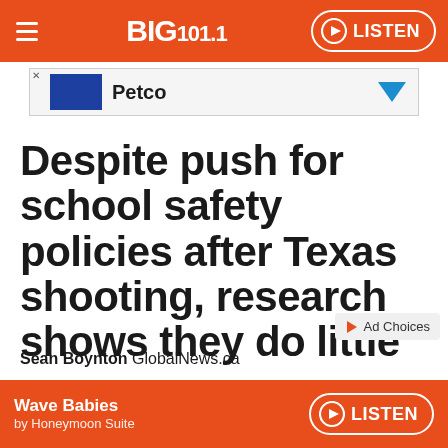BIG 101.1 — LISTEN
[Figure (screenshot): Petco advertisement banner with blue logo box and arrow]
Despite push for school safety policies after Texas shooting, research shows they do little
Sean Boynton GlobalNews.ca
Wave Babies by Honeymoon Suite — LISTEN